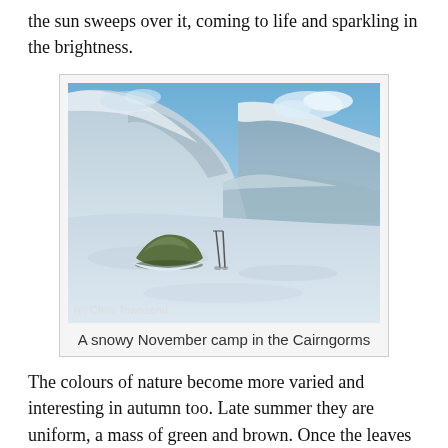the sun sweeps over it, coming to life and sparkling in the brightness.
[Figure (photo): A snowy November camp in the Cairngorms. A green dome tent sits on a snow-covered plateau with trekking poles beside it. A large snow-covered hillside rises in the background under a blue sky with some clouds. Photo credit: (c) Chris Townsend.]
A snowy November camp in the Cairngorms
The colours of nature become more varied and interesting in autumn too. Late summer they are uniform, a mass of green and brown. Once the leaves and grasses start to turn yellow and orange the woods and hills are brighter and more distinctive. On frosty days the sky is a deeper blue, without the haze often found in summer. Then as autumn turns to winter and the colours fade as the snow falls, changing the